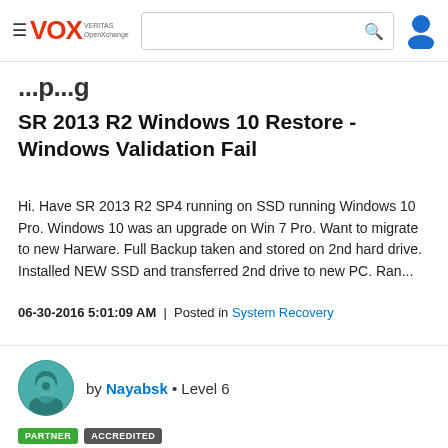VOX VERITAS OpenXchange — navigation bar with search
SR 2013 R2 Windows 10 Restore - Windows Validation Fail
Hi. Have SR 2013 R2 SP4 running on SSD running Windows 10 Pro. Windows 10 was an upgrade on Win 7 Pro. Want to migrate to new Harware. Full Backup taken and stored on 2nd hard drive. Installed NEW SSD and transferred 2nd drive to new PC. Ran...
06-30-2016 5:01:09 AM | Posted in System Recovery
by Nayabsk • Level 6
PARTNER ACCREDITED